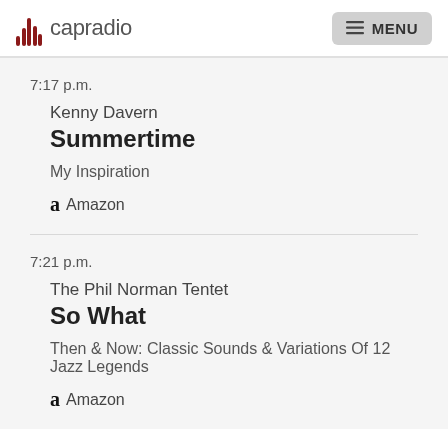capradio MENU
7:17 p.m.
Kenny Davern
Summertime
My Inspiration
Amazon
7:21 p.m.
The Phil Norman Tentet
So What
Then & Now: Classic Sounds & Variations Of 12 Jazz Legends
Amazon